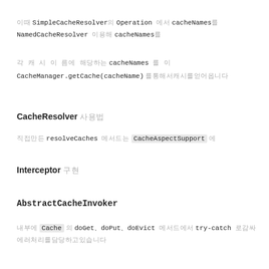이때 SimpleCacheResolver의 Operation 에서 cacheNames를 NamedCacheResolver 이용해 cacheNames를
각 캐시 이름에 해당하는 cacheNames 를 이용해 CacheManager.getCache(cacheName) 를통해서캐시를얻어옵니다
CacheResolver 사용법
직접만든 resolveCaches 메서드는 CacheAspectSupport 에
Interceptor 구현
AbstractCacheInvoker
내부에 Cache 의 doGet、doPut、doEvict 메서드에서 try-catch 로감싸 에러처리를담당하고있습니다